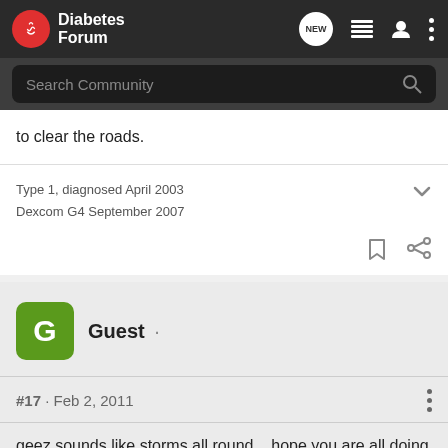Diabetes Forum
to clear the roads.
Type 1, diagnosed April 2003
Dexcom G4 September 2007
Guest · #17 · Feb 2, 2011
geez sounds like storms all round... hope you are all doing Ok.